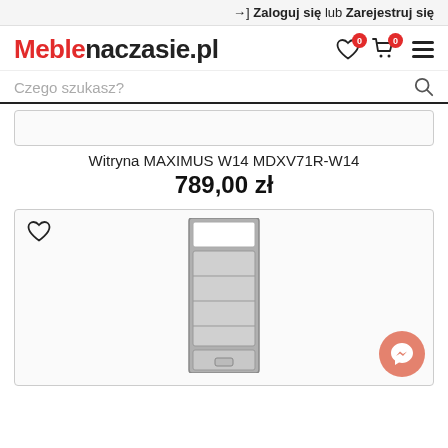→] Zaloguj się lub Zarejestruj się
[Figure (logo): Meblenaczasie.pl logo with heart and cart icons and hamburger menu]
Czego szukasz?
Witryna MAXIMUS W14 MDXV71R-W14
789,00 zł
[Figure (photo): Display cabinet - tall narrow glass-front cabinet in silver/grey color, shown in product listing card with heart/wishlist icon]